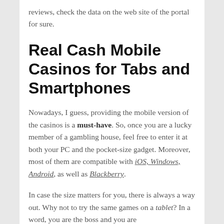reviews, check the data on the web site of the portal for sure.
Real Cash Mobile Casinos for Tabs and Smartphones
Nowadays, I guess, providing the mobile version of the casinos is a must-have. So, once you are a lucky member of a gambling house, feel free to enter it at both your PC and the pocket-size gadget. Moreover, most of them are compatible with iOS, Windows, Android, as well as Blackberry.
In case the size matters for you, there is always a way out. Why not to try the same games on a tablet? In a word, you are the boss and you are